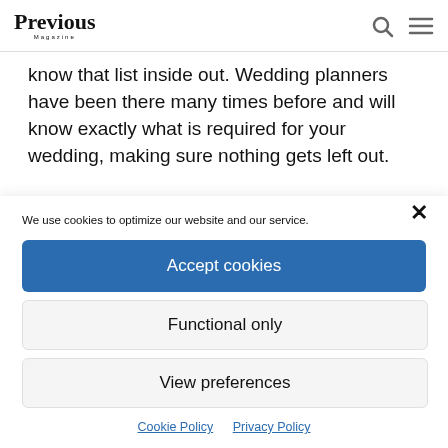Previous Magazine
know that list inside out. Wedding planners have been there many times before and will know exactly what is required for your wedding, making sure nothing gets left out.
We use cookies to optimize our website and our service.
Accept cookies
Functional only
View preferences
Cookie Policy  Privacy Policy